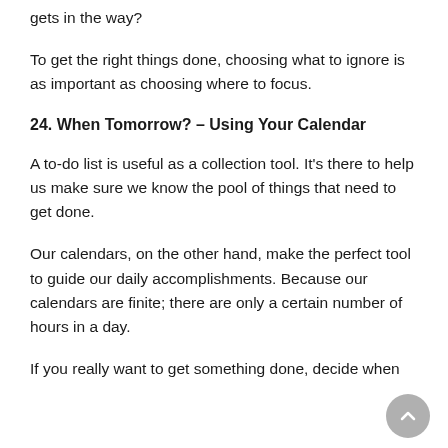gets in the way?
To get the right things done, choosing what to ignore is as important as choosing where to focus.
24. When Tomorrow? – Using Your Calendar
A to-do list is useful as a collection tool. It's there to help us make sure we know the pool of things that need to get done.
Our calendars, on the other hand, make the perfect tool to guide our daily accomplishments. Because our calendars are finite; there are only a certain number of hours in a day.
If you really want to get something done, decide when